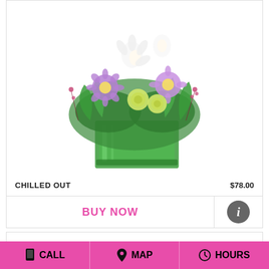[Figure (photo): Floral arrangement with purple, white, and yellow flowers in a green glass cube vase, labeled CHILLED OUT]
CHILLED OUT    $78.00
BUY NOW
[Figure (photo): Green leafy plant (peace lily / spathiphyllum) in a pot, partially shown]
CALL   MAP   HOURS